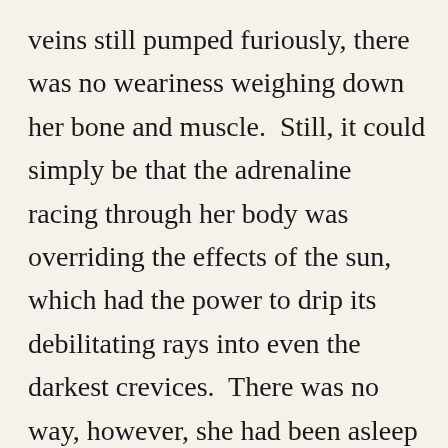veins still pumped furiously, there was no weariness weighing down her bone and muscle.  Still, it could simply be that the adrenaline racing through her body was overriding the effects of the sun, which had the power to drip its debilitating rays into even the darkest crevices.  There was no way, however, she had been asleep for more than a day.  Even so, her stomach grumbled in protest.  The sight of the rare treat had sparked an insatiable demand to